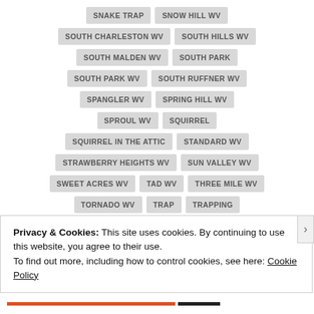SNAKE TRAP
SNOW HILL WV
SOUTH CHARLESTON WV
SOUTH HILLS WV
SOUTH MALDEN WV
SOUTH PARK
SOUTH PARK WV
SOUTH RUFFNER WV
SPANGLER WV
SPRING HILL WV
SPROUL WV
SQUIRREL
SQUIRREL IN THE ATTIC
STANDARD WV
STRAWBERRY HEIGHTS WV
SUN VALLEY WV
SWEET ACRES WV
TAD WV
THREE MILE WV
TORNADO WV
TRAP
TRAPPING
TURNER WV
TWOMILE WV
Privacy & Cookies: This site uses cookies. By continuing to use this website, you agree to their use.
To find out more, including how to control cookies, see here: Cookie Policy
Close and accept